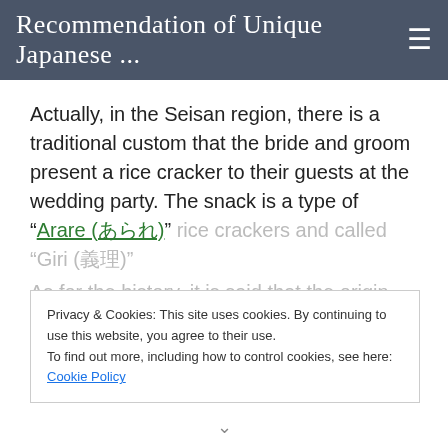Recommendation of Unique Japanese ...
Actually, in the Seisan region, there is a traditional custom that the bride and groom present a rice cracker to their guests at the wedding party. The snack is a type of "Arare (あられ)" rice crackers and called "Giri (義理)".
As for the history, it is said that the origin dates back to around 1587 when peasants in the
Privacy & Cookies: This site uses cookies. By continuing to use this website, you agree to their use.
To find out more, including how to control cookies, see here: Cookie Policy